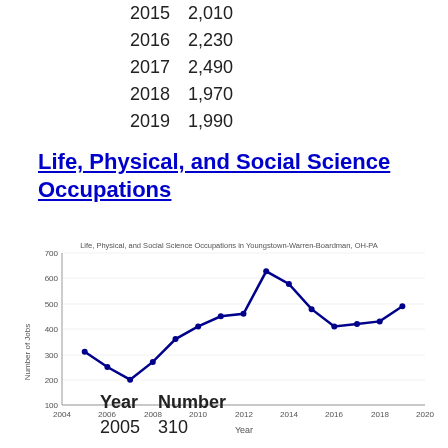| Year | Number |
| --- | --- |
| 2015 | 2,010 |
| 2016 | 2,230 |
| 2017 | 2,490 |
| 2018 | 1,970 |
| 2019 | 1,990 |
Life, Physical, and Social Science Occupations
[Figure (line-chart): Life, Physical, and Social Science Occupations in Youngstown-Warren-Boardman, OH-PA]
| Year | Number |
| --- | --- |
| 2005 | 310 |